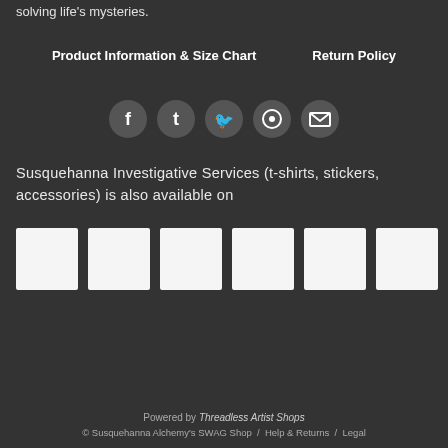solving life's mysteries.
Product Information & Size Chart   Return Policy
[Figure (infographic): Row of 5 social media icon circles: Facebook (f), Tumblr (t), Twitter bird, Pinterest (target), Email (envelope)]
Susquehanna Investigative Services (t-shirts, stickers, accessories) is also available on
[Figure (infographic): Row of 6 white square platform logo placeholder boxes]
Powered by Threadless Artist Shops © Susquehanna Alchemy's SWAG Shop / Help & Returns / Legal